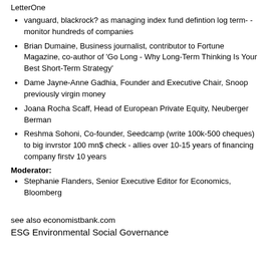LetterOne
vanguard, blackrock? as managing index fund defintion log term- -monitor hundreds of companies
Brian Dumaine, Business journalist, contributor to Fortune Magazine, co-author of 'Go Long - Why Long-Term Thinking Is Your Best Short-Term Strategy'
Dame Jayne-Anne Gadhia, Founder and Executive Chair, Snoop previously virgin money
Joana Rocha Scaff, Head of European Private Equity, Neuberger Berman
Reshma Sohoni, Co-founder, Seedcamp (write 100k-500 cheques) to big invrstor 100 mn$ check - allies over 10-15 years of financing company firstv 10 years
Moderator:
Stephanie Flanders, Senior Executive Editor for Economics, Bloomberg
see also economistbank.com
ESG Environmental Social Governance